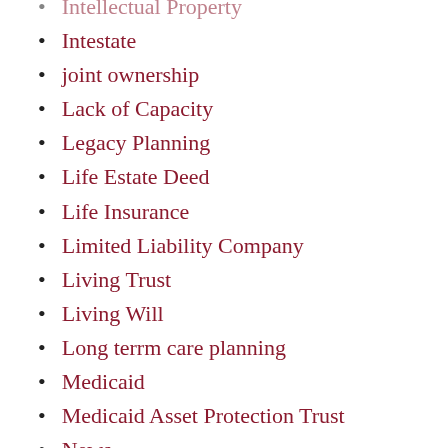Intellectual Property
Intestate
joint ownership
Lack of Capacity
Legacy Planning
Life Estate Deed
Life Insurance
Limited Liability Company
Living Trust
Living Will
Long terrm care planning
Medicaid
Medicaid Asset Protection Trust
News
Nursing home
Nursing Home Care
Pandemic